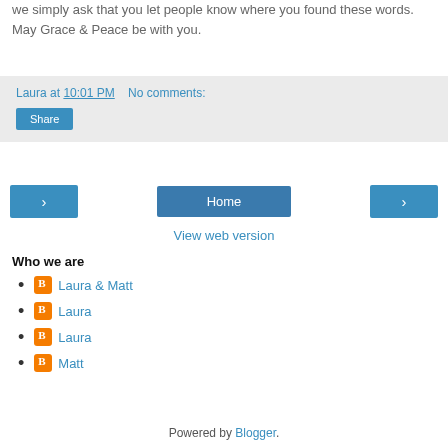we simply ask that you let people know where you found these words.
May Grace & Peace be with you.
Laura at 10:01 PM   No comments:
Share
[Figure (other): Navigation bar with left arrow button, Home button, and right arrow button]
View web version
Who we are
Laura & Matt
Laura
Laura
Matt
Powered by Blogger.